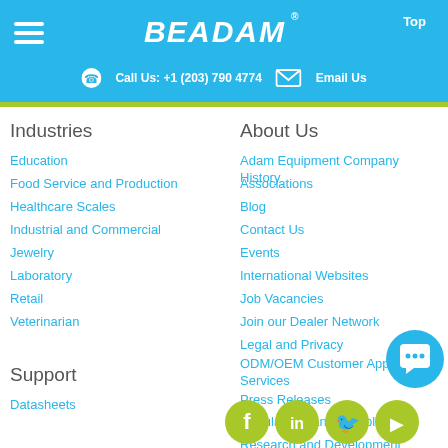BE ADAM® | Call Us: +1 (203) 790 4774 | Email Us | Top
Industries
Education
Food Service and Production
Healthcare Scales
Industrial and Commercial
Jewelry
Laboratory
Retail
Veterinarian
About Us
Adam Equipment Company History
Associations
Blog
Contact Us
Events
International Websites
Job Vacancies
Join our Dealer Network
Legal and Privacy
ODM/OEM Customer Application Services
Press Releases
Regulations and Compliance
Research and Development
Returns Policy
Sustainability
Support
Datasheets